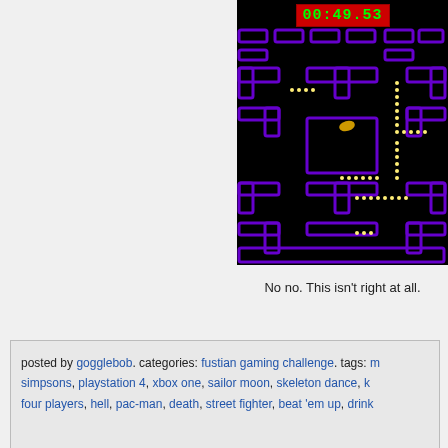[Figure (screenshot): A Pac-Man style maze game screenshot with a dark background, purple maze walls, yellow dots forming a path, and a small character. A red timer box showing '00:49.53' in green digits is at the top.]
No no. This isn't right at all.
posted by gogglebob. categories: fustian gaming challenge. tags: m... simpsons, playstation 4, xbox one, sailor moon, skeleton dance, k... four players, hell, pac-man, death, street fighter, beat 'em up, drink...